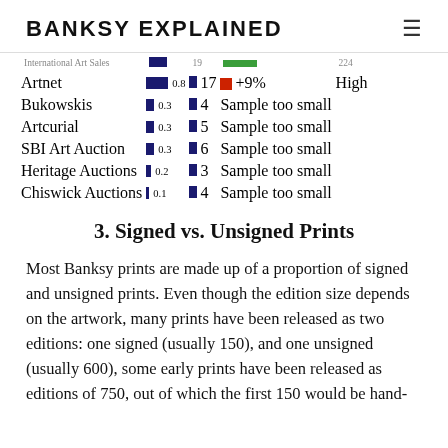BANKSY EXPLAINED
| Auction House | Score | Lots | Trend | Confidence |
| --- | --- | --- | --- | --- |
| Artnet | 0.8 | 17 | +9% | High |
| Bukowskis | 0.3 | 4 | Sample too small |  |
| Artcurial | 0.3 | 5 | Sample too small |  |
| SBI Art Auction | 0.3 | 6 | Sample too small |  |
| Heritage Auctions | 0.2 | 3 | Sample too small |  |
| Chiswick Auctions | 0.1 | 4 | Sample too small |  |
3. Signed vs. Unsigned Prints
Most Banksy prints are made up of a proportion of signed and unsigned prints. Even though the edition size depends on the artwork, many prints have been released as two editions: one signed (usually 150), and one unsigned (usually 600), some early prints have been released as editions of 750, out of which the first 150 would be hand-